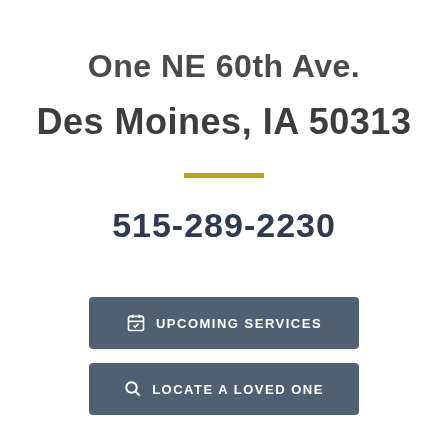One NE 60th Ave.
Des Moines, IA 50313
515-289-2230
UPCOMING SERVICES
LOCATE A LOVED ONE